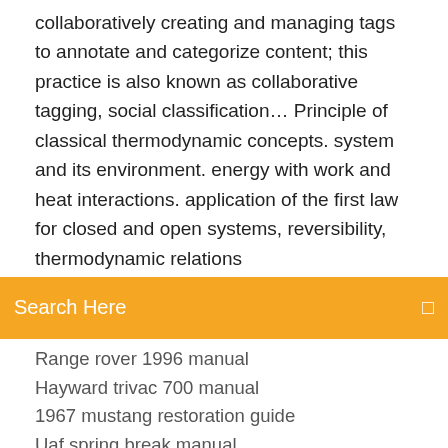collaboratively creating and managing tags to annotate and categorize content; this practice is also known as collaborative tagging, social classification… Principle of classical thermodynamic concepts. system and its environment. energy with work and heat interactions. application of the first law for closed and open systems, reversibility, thermodynamic relations
Search Here
Range rover 1996 manual
Hayward trivac 700 manual
1967 mustang restoration guide
Uaf spring break manual
Staodyn maxima ii manual
Technics sx pr51 manual
Ruger 10 22 full auto conversion pdf
Dir 866l review manual
Indoor humidity gauge manual
Carrier lbp humidifier manual